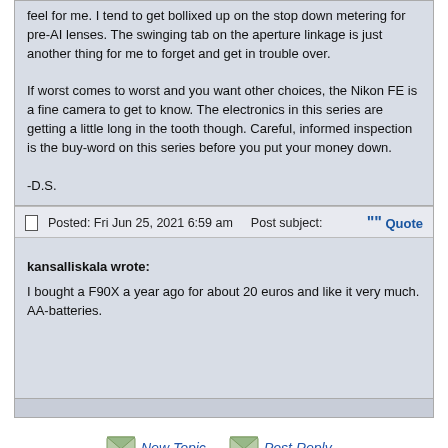feel for me. I tend to get bollixed up on the stop down metering for pre-AI lenses. The swinging tab on the aperture linkage is just another thing for me to forget and get in trouble over.

If worst comes to worst and you want other choices, the Nikon FE is a fine camera to get to know. The electronics in this series are getting a little long in the tooth though. Careful, informed inspection is the buy-word on this series before you put your money down.

-D.S.
Posted: Fri Jun 25, 2021 6:59 am    Post subject:
kansalliskala wrote:

I bought a F90X a year ago for about 20 euros and like it very much. AA-batteries.
[Figure (other): New Topic button with envelope icon]
[Figure (other): Post Reply button with envelope icon]
Home
Film SLR / TLR Cameras